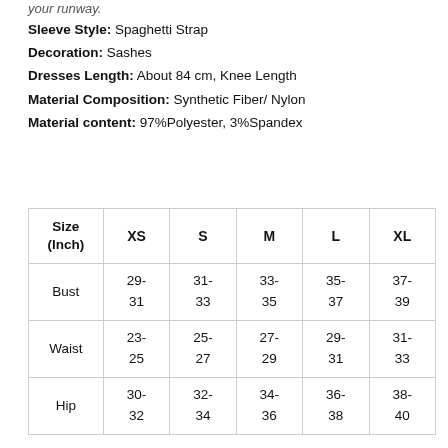your runway.
Sleeve Style: Spaghetti Strap
Decoration: Sashes
Dresses Length: About 84 cm, Knee Length
Material Composition: Synthetic Fiber/ Nylon
Material content: 97%Polyester, 3%Spandex
| Size (Inch) | XS | S | M | L | XL |
| --- | --- | --- | --- | --- | --- |
| Bust | 29-31 | 31-33 | 33-35 | 35-37 | 37-39 |
| Waist | 23-25 | 25-27 | 27-29 | 29-31 | 31-33 |
| Hip | 30-32 | 32-34 | 34-36 | 36-38 | 38-40 |